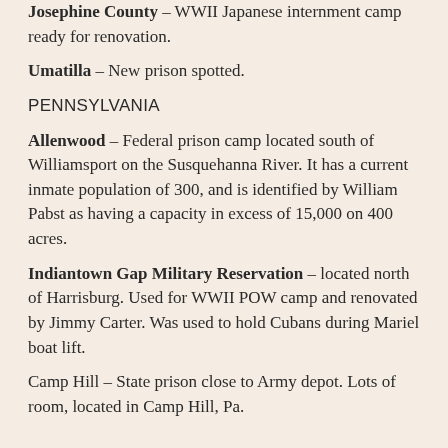Josephine County – WWII Japanese internment camp ready for renovation.
Umatilla – New prison spotted.
PENNSYLVANIA
Allenwood – Federal prison camp located south of Williamsport on the Susquehanna River. It has a current inmate population of 300, and is identified by William Pabst as having a capacity in excess of 15,000 on 400 acres.
Indiantown Gap Military Reservation – located north of Harrisburg. Used for WWII POW camp and renovated by Jimmy Carter. Was used to hold Cubans during Mariel boat lift.
Camp Hill – State prison close to Army depot. Lots of room, located in Camp Hill, Pa.